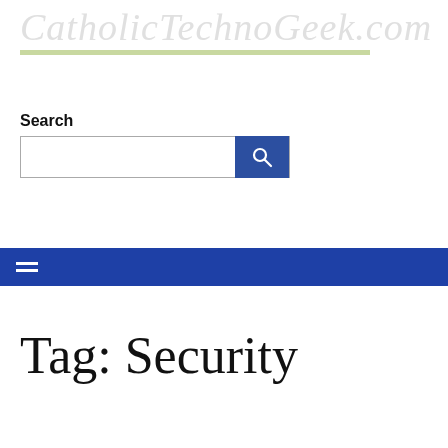CatholicTechnoGeek.com
Search
Tag: Security